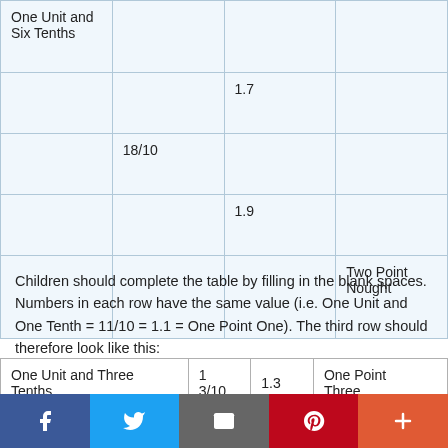| One Unit and
Six Tenths |  |  |  |
|  |  | 1.7 |  |
|  | 18/10 |  |  |
|  |  | 1.9 |  |
|  |  |  | Two Point
Nought |
Children should complete the table by filling in the blank spaces. Numbers in each row have the same value (i.e. One Unit and One Tenth = 11/10 = 1.1 = One Point One). The third row should therefore look like this:
| One Unit and Three Tenths | 1
3/10 | 1.3 | One Point Three |
f  Twitter  Email  Pinterest  +